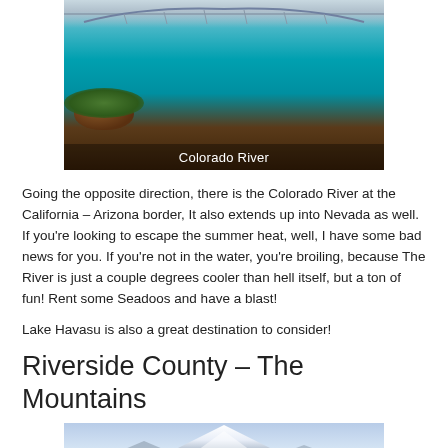[Figure (photo): Aerial/river-level photo of the Colorado River with a bridge in the background, turquoise water, vegetation and rocks on the shore. Caption reads 'Colorado River'.]
Going the opposite direction, there is the Colorado River at the California – Arizona border, It also extends up into Nevada as well. If you're looking to escape the summer heat, well, I have some bad news for you. If you're not in the water, you're broiling, because The River is just a couple degrees cooler than hell itself, but a ton of fun! Rent some Seadoos and have a blast!
Lake Havasu is also a great destination to consider!
Riverside County – The Mountains
[Figure (photo): Photo of snow-capped mountains under a blue sky, partially visible at the bottom of the page.]